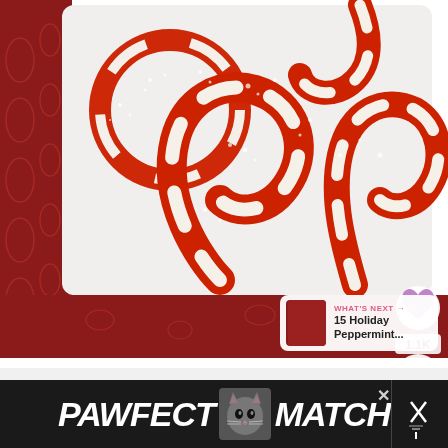[Figure (photo): Overhead view of red and white twisted candy cane shaped cookies dusted with powdered sugar on a white plate, set on a dark red paisley fabric background. Overlaid UI elements include a heart/like button, a share button showing 1.1K, and a 'WHAT'S NEXT' card showing '15 Holiday Peppermint...']
[Figure (screenshot): Advertisement bar at bottom reading 'PAWFECT MATCH' with a cat image in the center, on dark background with close (X) button and a vertical divider on the right side.]